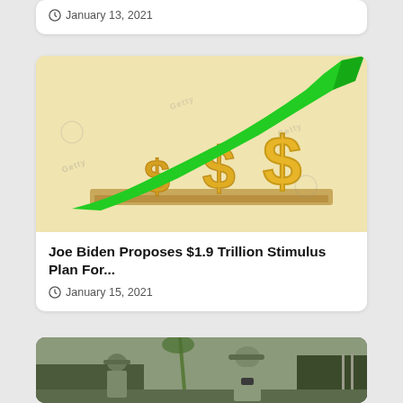January 13, 2021
[Figure (illustration): 3D rendered golden dollar signs with a rising green arrow, representing financial growth related to stimulus plan]
Joe Biden Proposes $1.9 Trillion Stimulus Plan For...
January 15, 2021
[Figure (photo): Soldiers in camouflage military uniforms standing near a military vehicle]